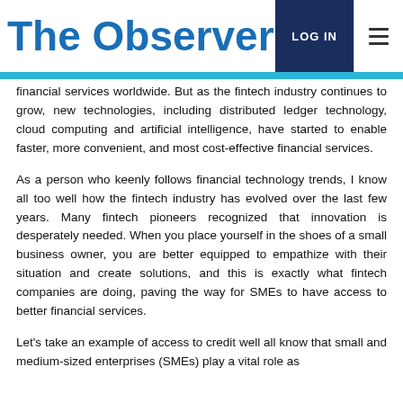The Observer | LOG IN
financial services worldwide. But as the fintech industry continues to grow, new technologies, including distributed ledger technology, cloud computing and artificial intelligence, have started to enable faster, more convenient, and most cost-effective financial services.
As a person who keenly follows financial technology trends, I know all too well how the fintech industry has evolved over the last few years. Many fintech pioneers recognized that innovation is desperately needed. When you place yourself in the shoes of a small business owner, you are better equipped to empathize with their situation and create solutions, and this is exactly what fintech companies are doing, paving the way for SMEs to have access to better financial services.
Let's take an example of access to credit well all know that small and medium-sized enterprises (SMEs) play a vital role as